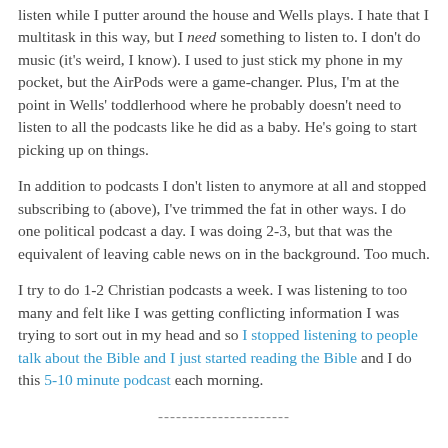listen while I putter around the house and Wells plays. I hate that I multitask in this way, but I need something to listen to. I don't do music (it's weird, I know). I used to just stick my phone in my pocket, but the AirPods were a game-changer. Plus, I'm at the point in Wells' toddlerhood where he probably doesn't need to listen to all the podcasts like he did as a baby. He's going to start picking up on things.
In addition to podcasts I don't listen to anymore at all and stopped subscribing to (above), I've trimmed the fat in other ways. I do one political podcast a day. I was doing 2-3, but that was the equivalent of leaving cable news on in the background. Too much.
I try to do 1-2 Christian podcasts a week. I was listening to too many and felt like I was getting conflicting information I was trying to sort out in my head and so I stopped listening to people talk about the Bible and I just started reading the Bible and I do this 5-10 minute podcast each morning.
----------------------